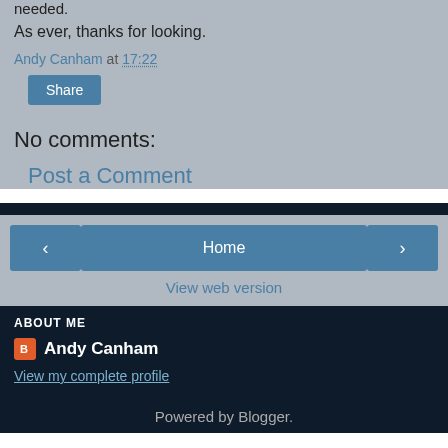needed.
As ever, thanks for looking.
Andy Canham at 17:22
Share
No comments:
Post a Comment
< Home >
View web version
ABOUT ME
Andy Canham
View my complete profile
Powered by Blogger.